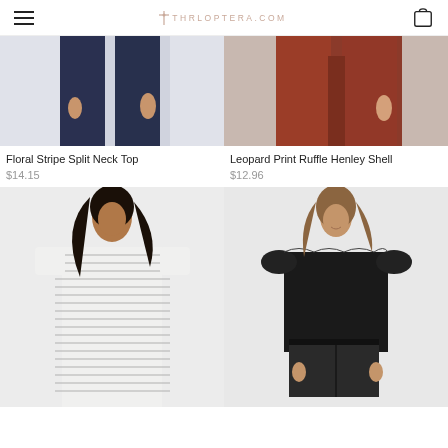THRLOPTERA.COM
[Figure (photo): Model wearing dark navy pants, cropped view showing lower body]
[Figure (photo): Model wearing rust/dark red wide-leg trousers, cropped view showing lower body]
Floral Stripe Split Neck Top
$14.15
Leopard Print Ruffle Henley Shell
$12.96
[Figure (photo): Model wearing a white and grey striped short-sleeve t-shirt dress]
[Figure (photo): Model wearing a black ruffle-sleeve top with black denim shorts]